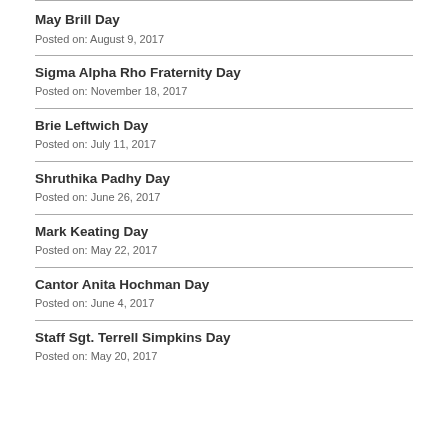May Brill Day
Posted on: August 9, 2017
Sigma Alpha Rho Fraternity Day
Posted on: November 18, 2017
Brie Leftwich Day
Posted on: July 11, 2017
Shruthika Padhy Day
Posted on: June 26, 2017
Mark Keating Day
Posted on: May 22, 2017
Cantor Anita Hochman Day
Posted on: June 4, 2017
Staff Sgt. Terrell Simpkins Day
Posted on: May 20, 2017